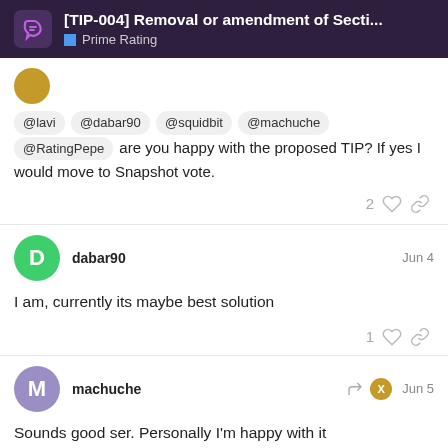[TIP-004] Removal or amendment of Secti... | Prime Rating
@lavi @dabar90 @squidbit @machuche @RatingPepe are you happy with the proposed TIP? If yes I would move to Snapshot vote.
2 likes, link
dabar90 — Jun 4
I am, currently its maybe best solution
1 like, link
machuche — Jun 5
Sounds good ser. Personally I'm happy with it